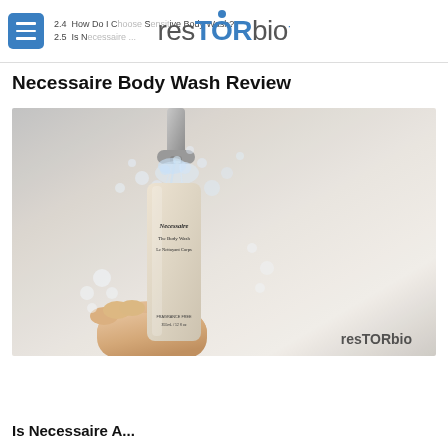resTORbio — 2.4 How Do I Choose The Best Body Wash? 2.5 Is N...
Necessaire Body Wash Review
[Figure (photo): Hand holding a Necessaire The Body Wash bottle under running water with splashes, watermarked with resTORbio logo in bottom right corner]
Is Necessaire A...